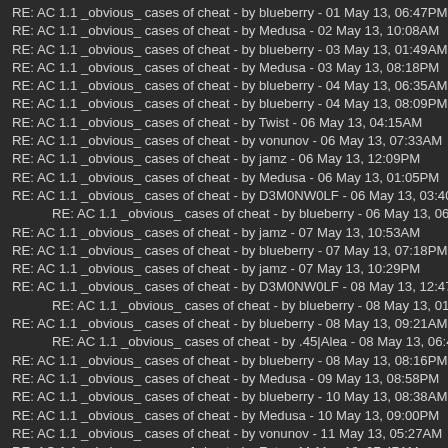RE: AC 1.1 _obvious_ cases of cheat - by blueberry - 01 May 13, 06:47PM
RE: AC 1.1 _obvious_ cases of cheat - by Medusa - 02 May 13, 10:08AM
RE: AC 1.1 _obvious_ cases of cheat - by blueberry - 03 May 13, 01:49AM
RE: AC 1.1 _obvious_ cases of cheat - by Medusa - 03 May 13, 08:18PM
RE: AC 1.1 _obvious_ cases of cheat - by blueberry - 04 May 13, 06:35AM
RE: AC 1.1 _obvious_ cases of cheat - by blueberry - 04 May 13, 08:09PM
RE: AC 1.1 _obvious_ cases of cheat - by Twist - 06 May 13, 04:15AM
RE: AC 1.1 _obvious_ cases of cheat - by vonunov - 06 May 13, 07:33AM
RE: AC 1.1 _obvious_ cases of cheat - by jamz - 06 May 13, 12:09PM
RE: AC 1.1 _obvious_ cases of cheat - by Medusa - 06 May 13, 01:05PM
RE: AC 1.1 _obvious_ cases of cheat - by D3M0NW0LF - 06 May 13, 03:40PM
RE: AC 1.1 _obvious_ cases of cheat - by blueberry - 06 May 13, 06:33PM
RE: AC 1.1 _obvious_ cases of cheat - by jamz - 07 May 13, 10:53AM
RE: AC 1.1 _obvious_ cases of cheat - by blueberry - 07 May 13, 07:18PM
RE: AC 1.1 _obvious_ cases of cheat - by jamz - 07 May 13, 10:29PM
RE: AC 1.1 _obvious_ cases of cheat - by D3M0NW0LF - 08 May 13, 12:47AM
RE: AC 1.1 _obvious_ cases of cheat - by blueberry - 08 May 13, 01:30AM
RE: AC 1.1 _obvious_ cases of cheat - by blueberry - 08 May 13, 09:21AM
RE: AC 1.1 _obvious_ cases of cheat - by .45|Alea - 08 May 13, 06:47PM
RE: AC 1.1 _obvious_ cases of cheat - by blueberry - 08 May 13, 08:16PM
RE: AC 1.1 _obvious_ cases of cheat - by Medusa - 09 May 13, 08:58PM
RE: AC 1.1 _obvious_ cases of cheat - by blueberry - 10 May 13, 08:38AM
RE: AC 1.1 _obvious_ cases of cheat - by Medusa - 10 May 13, 09:00PM
RE: AC 1.1 _obvious_ cases of cheat - by vonunov - 11 May 13, 05:27AM
RE: AC 1.1 _obvious_ cases of cheat - by Fate - 11 May 13, 07:47AM